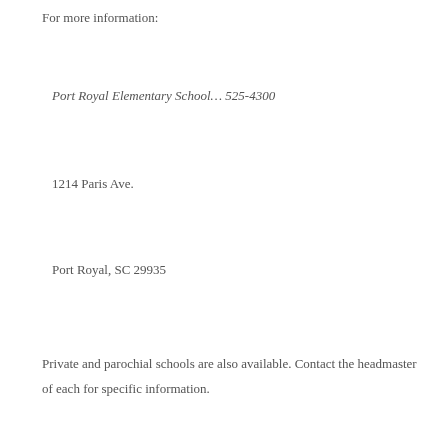For more information:
Port Royal Elementary School… 525-4300
1214 Paris Ave.
Port Royal, SC 29935
Private and parochial schools are also available. Contact the headmaster of each for specific information.